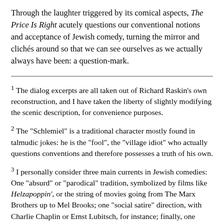Through the laughter triggered by its comical aspects, The Price Is Right acutely questions our conventional notions and acceptance of Jewish comedy, turning the mirror and clichés around so that we can see ourselves as we actually always have been: a question-mark.
1 The dialog excerpts are all taken out of Richard Raskin's own reconstruction, and I have taken the liberty of slightly modifying the scenic description, for convenience purposes.
2 The "Schlemiel" is a traditional character mostly found in talmudic jokes: he is the "fool", the "village idiot" who actually questions conventions and therefore possesses a truth of his own.
3 I personally consider three main currents in Jewish comedies: One "absurd" or "parodical" tradition, symbolized by films like Helzapoppin', or the string of movies going from The Marx Brothers up to Mel Brooks; one "social satire" direction, with Charlie Chaplin or Ernst Lubitsch, for instance; finally, one "intellectual humor" offspring, of which Woody Allen is the best example. Of course these categories are often intertwined in single